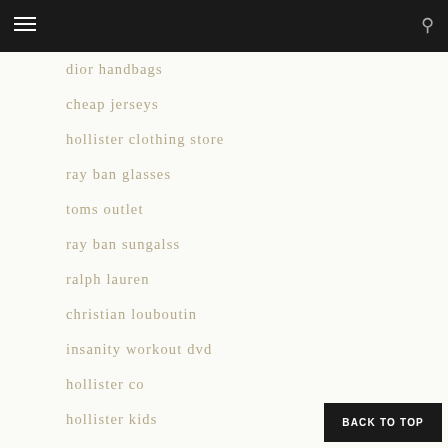dior handbags
cheap jerseys
hollister clothing store
ray ban glasses
toms outlet
ray ban sungalss
ralph lauren
christian louboutin
insanity workout dvd
hollister co
hollister kids
cheap air max
gucci
marc jacobs handbags